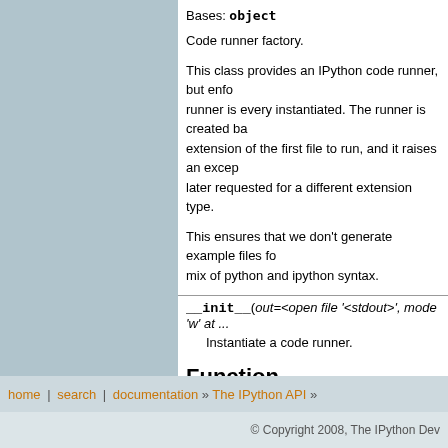Bases: object
Code runner factory.
This class provides an IPython code runner, but enforces that only one runner is every instantiated. The runner is created based on the extension of the first file to run, and it raises an exception if later requested for a different extension type.
This ensures that we don't generate example files for a mix of python and ipython syntax.
__init__(out=<open file '<stdout>', mode 'w' at ...
Instantiate a code runner.
Function
IPython.testing.mkdoctests.main()
Run as a script.
home | search | documentation » The IPython API »
© Copyright 2008, The IPython Dev